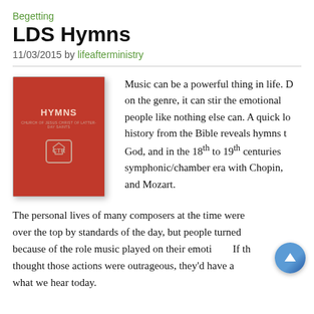Begetting
LDS Hymns
11/03/2015 by lifeafterministry
[Figure (photo): Red hardcover LDS Hymns book with embossed CTR shield emblem on cover]
Music can be a powerful thing in life. Depending on the genre, it can stir the emotional lives of people like nothing else can. A quick look at history from the Bible reveals hymns to praise God, and in the 18th to 19th centuries was the symphonic/chamber era with Chopin, and Mozart.
The personal lives of many composers at the time were over the top by standards of the day, but people turned because of the role music played on their emotions. If those thought those actions were outrageous, they'd have a clue what we hear today.